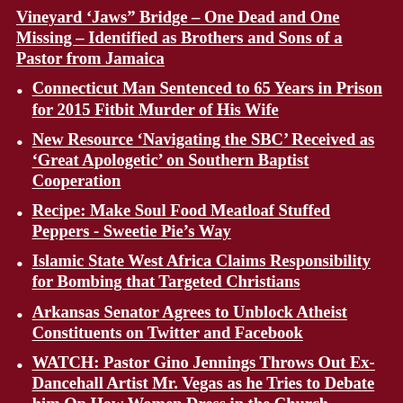Vineyard ‘Jaws” Bridge – One Dead and One Missing – Identified as Brothers and Sons of a Pastor from Jamaica
Connecticut Man Sentenced to 65 Years in Prison for 2015 Fitbit Murder of His Wife
New Resource ‘Navigating the SBC’ Received as ‘Great Apologetic’ on Southern Baptist Cooperation
Recipe: Make Soul Food Meatloaf Stuffed Peppers - Sweetie Pie’s Way
Islamic State West Africa Claims Responsibility for Bombing that Targeted Christians
Arkansas Senator Agrees to Unblock Atheist Constituents on Twitter and Facebook
WATCH: Pastor Gino Jennings Throws Out Ex-Dancehall Artist Mr. Vegas as he Tries to Debate him On How Women Dress in the Church
31 United Methodist Churches in North Carolina Threaten Lawsuit as They Demand to Be Immediately Allowed to Leave the